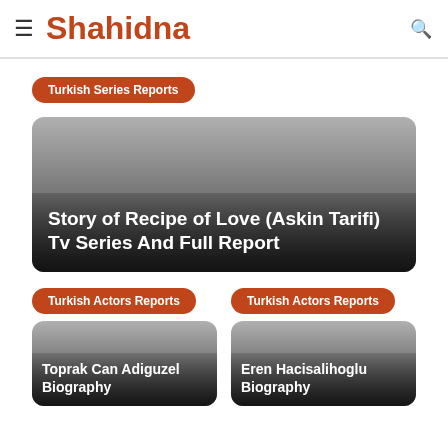Shahidna
Turkish Series Reports
Story of Recipe of Love (Askin Tarifi) Tv Series And Full Report
Turkish Actors Reports
Turkish Actors Reports
Toprak Can Adiguzel Biography
Eren Hacisalihoglu Biography